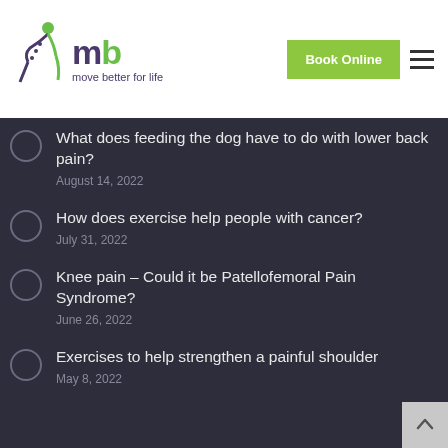[Figure (logo): mb move better for life logo with stylized figure and green/purple text]
Book Online
What does feeding the dog have to do with lower back pain?
August 14, 2022
How does exercise help people with cancer?
July 31, 2022
Knee pain – Could it be Patellofemoral Pain Syndrome?
June 26, 2022
Exercises to help strengthen a painful shoulder
May 8, 2022